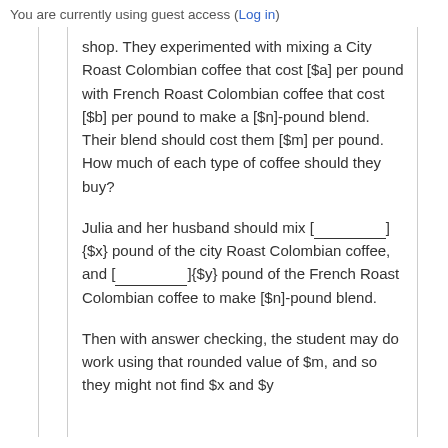You are currently using guest access (Log in)
shop. They experimented with mixing a City Roast Colombian coffee that cost [$a] per pound with French Roast Colombian coffee that cost [$b] per pound to make a [$n]-pound blend. Their blend should cost them [$m] per pound. How much of each type of coffee should they buy?
Julia and her husband should mix [________]{$x} pound of the city Roast Colombian coffee, and [________]{$y} pound of the French Roast Colombian coffee to make [$n]-pound blend.
Then with answer checking, the student may do work using that rounded value of $m, and so they might not find $x and $y